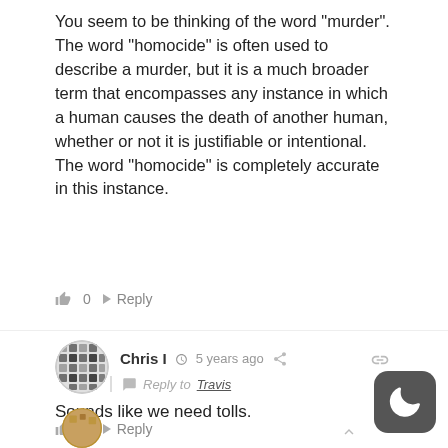You seem to be thinking of the word “murder”. The word “homocide” is often used to describe a murder, but it is a much broader term that encompasses any instance in which a human causes the death of another human, whether or not it is justifiable or intentional. The word “homocide” is completely accurate in this instance.
0  Reply
[Figure (photo): Circular avatar with a dark geometric/grid pattern]
Chris I  5 years ago  Reply to Travis  Sounds like we need tolls.  0  Reply